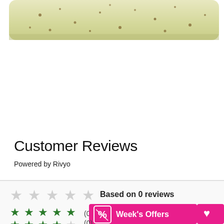[Figure (photo): Top portion of a bar of speckled cream/yellow soap with brown spots, photographed against a white background, cropped at top edge]
Customer Reviews
Powered by Rivyo
[Figure (infographic): Customer reviews widget showing 5 empty/grey stars, 'Based on 0 reviews' text, two rows of star ratings (5-star row with 5 green stars showing (0), 4-star row with 4 green stars and 1 grey star showing (0)), overlaid by a pink 'Week's Offers' banner with icon, and a pink heart button on the right]
Week's Offers